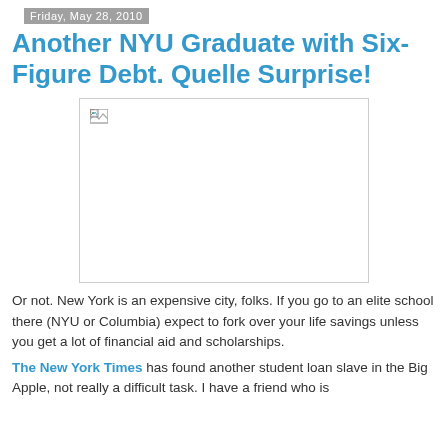Friday, May 28, 2010
Another NYU Graduate with Six-Figure Debt. Quelle Surprise!
[Figure (photo): Placeholder image (broken/missing image icon) in a bordered rectangle]
Or not. New York is an expensive city, folks. If you go to an elite school there (NYU or Columbia) expect to fork over your life savings unless you get a lot of financial aid and scholarships.
The New York Times has found another student loan slave in the Big Apple, not really a difficult task. I have a friend who is